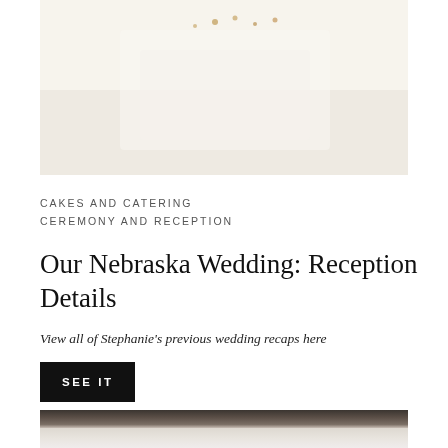[Figure (photo): Top portion of a wedding cake photo, cream/white colored with small decorative gold/brown floral elements, soft and blurred background]
CAKES AND CATERING
CEREMONY AND RECEPTION
Our Nebraska Wedding: Reception Details
View all of Stephanie's previous wedding recaps here
SEE IT
[Figure (photo): Bottom portion of a wedding photo, partially visible, showing what appears to be a dark branch or tree element at top with a light blurred figure (bride) below]